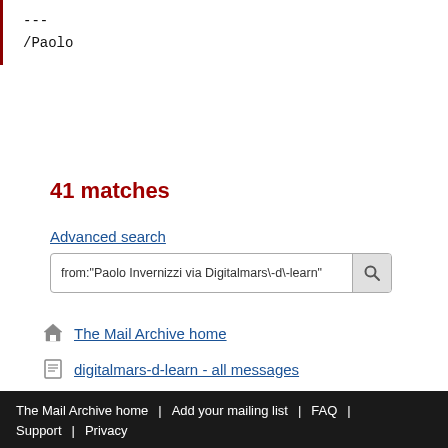---
/Paolo
41 matches
Advanced search
from:"Paolo Invernizzi via Digitalmars\-d\-learn"
The Mail Archive home
digitalmars-d-learn - all messages
digitalmars-d-learn - about the list
Expand
The Mail Archive home | Add your mailing list | FAQ | Support | Privacy